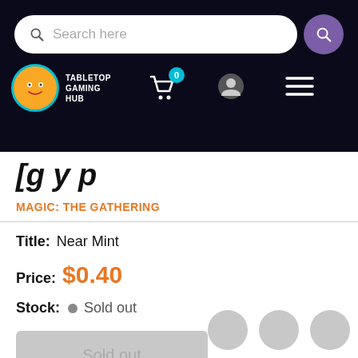Tabletop Gaming Hub — Search bar with cart (0), user, and menu icons
[g y p (partial page title)
MAGIC: THE GATHERING
Title: Near Mint
Price: $0.40
Stock: Sold out
Sold out